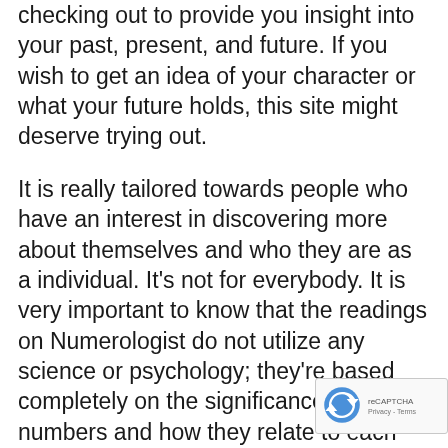checking out to provide you insight into your past, present, and future. If you wish to get an idea of your character or what your future holds, this site might deserve trying out.
It is really tailored towards people who have an interest in discovering more about themselves and who they are as a individual. It's not for everybody. It is very important to know that the readings on Numerologist do not utilize any science or psychology; they're based completely on the significances of numbers and how they relate to each other in various combinations.
A lot of individuals like Numeralist due to the fact that it gives them insight into their character characteristics and the patterns in
[Figure (other): reCAPTCHA badge with logo and Privacy-Terms links]